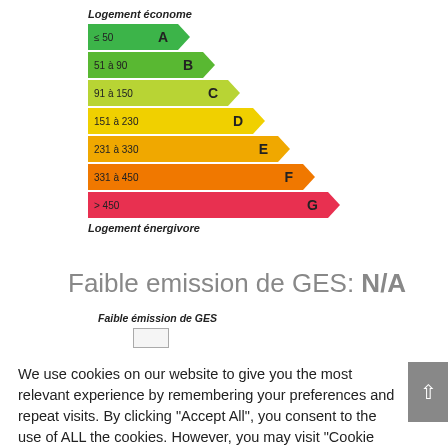[Figure (infographic): French energy efficiency rating chart (DPE) showing 7 bands from A (Logement économe, ≤50) to G (Logement énergivore, >450) with colored arrow-shaped bars in green to red gradient.]
Faible emission de GES: N/A
Faible émission de GES
We use cookies on our website to give you the most relevant experience by remembering your preferences and repeat visits. By clicking "Accept All", you consent to the use of ALL the cookies. However, you may visit "Cookie Settings" to provide a controlled consent.